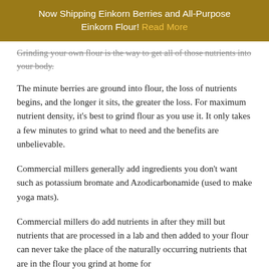Now Shipping Einkorn Berries and All-Purpose Einkorn Flour! Read More
Grinding your own flour is the way to get all of those nutrients into your body.
The minute berries are ground into flour, the loss of nutrients begins, and the longer it sits, the greater the loss. For maximum nutrient density, it's best to grind flour as you use it. It only takes a few minutes to grind what to need and the benefits are unbelievable.
Commercial millers generally add ingredients you don't want such as potassium bromate and Azodicarbonamide (used to make yoga mats).
Commercial millers do add nutrients in after they mill but nutrients that are processed in a lab and then added to your flour can never take the place of the naturally occurring nutrients that are in the flour you grind at home for